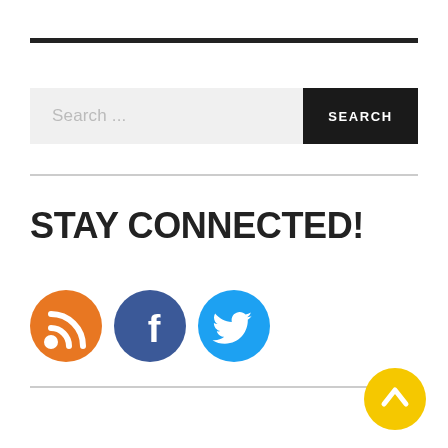[Figure (other): Dark horizontal top bar/rule]
[Figure (other): Search bar with text 'Search ...' and black SEARCH button]
STAY CONNECTED!
[Figure (infographic): Three social media icons: RSS (orange), Facebook (dark blue), Twitter (light blue)]
[Figure (other): Yellow circle button with upward chevron arrow (scroll to top)]